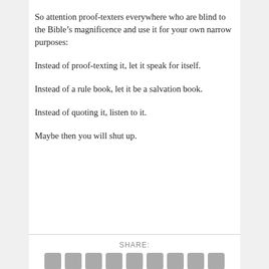So attention proof-texters everywhere who are blind to the Bible’s magnificence and use it for your own narrow purposes:
Instead of proof-texting it, let it speak for itself.
Instead of a rule book, let it be a salvation book.
Instead of quoting it, listen to it.
Maybe then you will shut up.
SHARE: